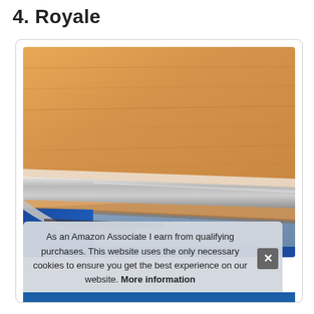4. Royale
[Figure (photo): Close-up product photo of a silver aluminum floor transition strip/threshold bar bridging two flooring surfaces — an orange/wood-tone laminate floor on top and a blue carpet/textile surface, with the metallic strip in the center angled across the junction.]
As an Amazon Associate I earn from qualifying purchases. This website uses the only necessary cookies to ensure you get the best experience on our website. More information